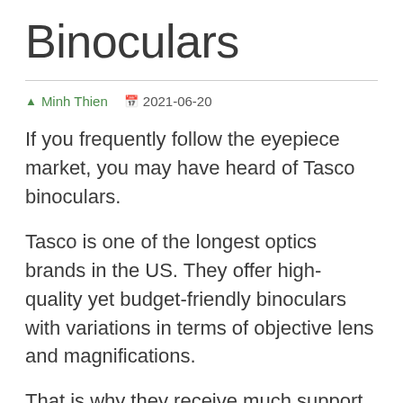Binoculars
Minh Thien  2021-06-20
If you frequently follow the eyepiece market, you may have heard of Tasco binoculars.
Tasco is one of the longest optics brands in the US. They offer high-quality yet budget-friendly binoculars with variations in terms of objective lens and magnifications.
That is why they receive much support from hunters, hikers, and outdoor enthusiasts,